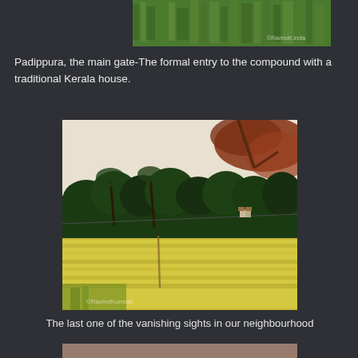[Figure (photo): Top cropped photo showing lush green grass or rice paddy field with a watermark in the lower right corner]
Padippura, the main gate-The formal entry to the compound with a traditional Kerala house.
[Figure (photo): Photo of a golden-green rice paddy field with palm trees and tropical vegetation in the background, a small house visible, and a tree with reddish-brown leaves in the upper right corner. A watermark is visible in the lower left.]
The last one of the vanishing sights in our neighbourhood
[Figure (photo): Bottom partially visible photo, cropped at page edge]